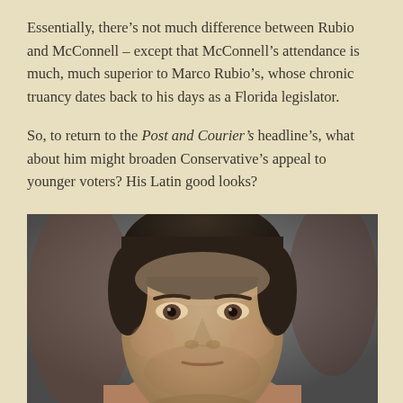Essentially, there’s not much difference between Rubio and McConnell – except that McConnell’s attendance is much, much superior to Marco Rubio’s, whose chronic truancy dates back to his days as a Florida legislator.
So, to return to the Post and Courier’s headline’s, what about him might broaden Conservative’s appeal to younger voters? His Latin good looks?
[Figure (photo): Close-up photograph of a young man's face (Marco Rubio), looking slightly downward with a serious expression, against a blurred background.]